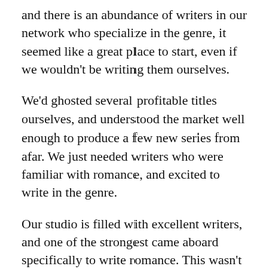and there is an abundance of writers in our network who specialize in the genre, it seemed like a great place to start, even if we wouldn't be writing them ourselves.
We'd ghosted several profitable titles ourselves, and understood the market well enough to produce a few new series from afar. We just needed writers who were familiar with romance, and excited to write in the genre.
Our studio is filled with excellent writers, and one of the strongest came aboard specifically to write romance. This wasn't the genre she settled into because she didn't know where else to start — this was her self-selecting from every available option. She'd worked in romance for years, and it was the place she felt most at home.